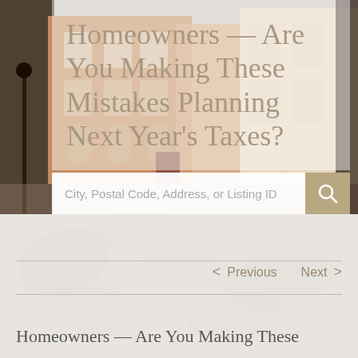[Figure (screenshot): Website screenshot showing a real estate article page. Top portion has a hero image of a brick townhouse street scene with a semi-transparent white overlay containing the article title 'Homeowners — Are You Making These Mistakes Planning Next Year's Taxes?' in large tan/beige serif text. Below the hero is a search bar with placeholder text 'City, Postal Code, Address, or Listing ID' and a tan search icon button. The lower half shows a light gray background with a navigation row containing 'Previous' and 'Next' pagination links with chevron arrows, bordered by horizontal lines. At the very bottom is the beginning of the article title text 'Homeowners — Are You Making These' in gray serif font.]
Homeowners — Are You Making These Mistakes Planning Next Year's Taxes?
City, Postal Code, Address, or Listing ID
< Previous  Next >
Homeowners — Are You Making These